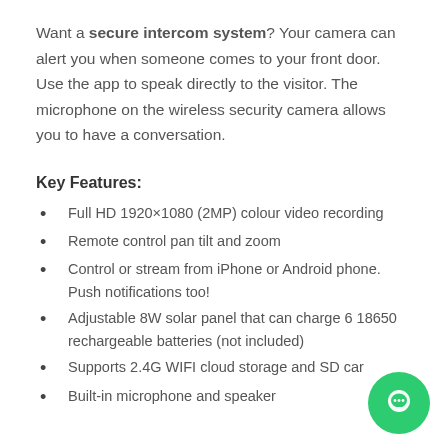Want a secure intercom system? Your camera can alert you when someone comes to your front door. Use the app to speak directly to the visitor. The microphone on the wireless security camera allows you to have a conversation.
Key Features:
Full HD 1920×1080 (2MP) colour video recording
Remote control pan tilt and zoom
Control or stream from iPhone or Android phone. Push notifications too!
Adjustable 8W solar panel that can charge 6 18650 rechargeable batteries (not included)
Supports 2.4G WIFI cloud storage and SD car
Built-in microphone and speaker